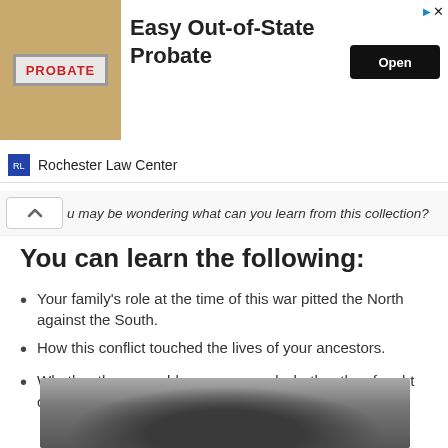[Figure (photo): Advertisement banner for Rochester Law Center showing a probate stamp image on the left, bold text 'Easy Out-of-State Probate' in center, and an 'Open' button on the right. Rochester Law Center logo and name shown below.]
u may be wondering what can you learn from this collection?
You can learn the following:
Your family's role at the time of this war pitted the North against the South.
How this conflict touched the lives of your ancestors.
Whether they wore blue or gray, and whether they fought on the front line or endured life on the home front.
[Figure (photo): Black and white historical photograph of a Civil War soldier carrying equipment, with trees and buildings visible in the background.]